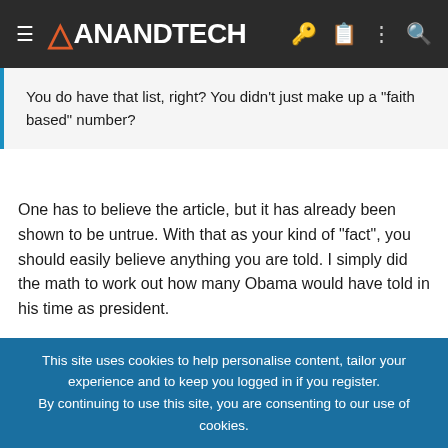AnandTech
You do have that list, right? You didn't just make up a "faith based" number?
One has to believe the article, but it has already been shown to be untrue. With that as your kind of "fact", you should easily believe anything you are told. I simply did the math to work out how many Obama would have told in his time as president.
EDIT: Since you will not admit to the number of Obama lies, since it is not based on reality, I will also not admit to the number of Romney lies, since that is not based on reality either. 🙂
This site uses cookies to help personalise content, tailor your experience and to keep you logged in if you register.
By continuing to use this site, you are consenting to our use of cookies.